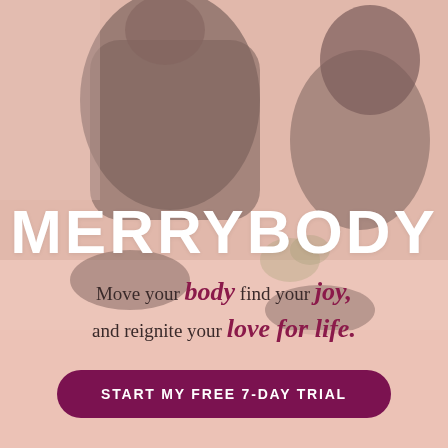[Figure (photo): Two women in workout clothes (black tops and leggings) doing fitness exercises, one lunging forward, photographed from the torso down, with plants in the background. Pink/salmon toned overlay.]
MERRYBODY
Move your body find your joy, and reignite your love for life.
START MY FREE 7-DAY TRIAL